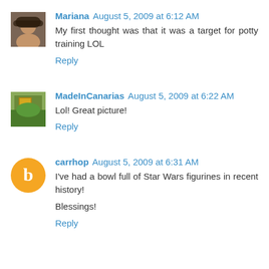Mariana August 5, 2009 at 6:12 AM
My first thought was that it was a target for potty training LOL
Reply
MadeInCanarias August 5, 2009 at 6:22 AM
Lol! Great picture!
Reply
carrhop August 5, 2009 at 6:31 AM
I've had a bowl full of Star Wars figurines in recent history!
Blessings!
Reply